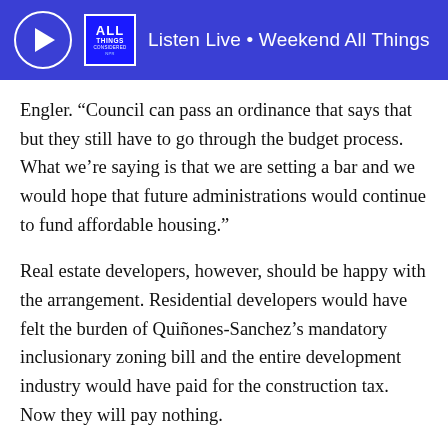Listen Live • Weekend All Things Considered
Engler. “Council can pass an ordinance that says that but they still have to go through the budget process. What we’re saying is that we are setting a bar and we would hope that future administrations would continue to fund affordable housing.”
Real estate developers, however, should be happy with the arrangement. Residential developers would have felt the burden of Quiñones-Sanchez’s mandatory inclusionary zoning bill and the entire development industry would have paid for the construction tax. Now they will pay nothing.
“For our part the BIA and its members see the value of